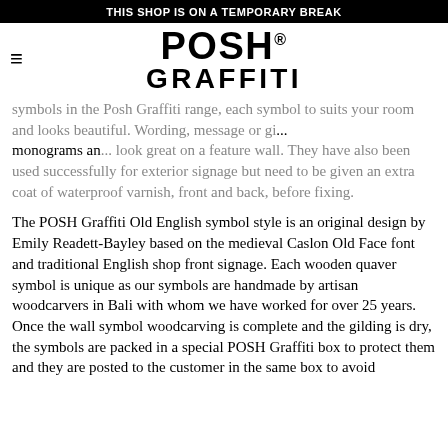THIS SHOP IS ON A TEMPORARY BREAK
[Figure (logo): POSH GRAFFITI logo with registered trademark symbol]
symbols in the Posh Graffiti range, each symbol to suits your room and looks beautiful. Wording, message or gift - they look great also as wooden monograms and they also look great on a feature wall. They have also been used successfully for exterior signage but need to be given an extra coat of waterproof varnish, front and back, before fixing.
The POSH Graffiti Old English symbol style is an original design by Emily Readett-Bayley based on the medieval Caslon Old Face font and traditional English shop front signage. Each wooden quaver symbol is unique as our symbols are handmade by artisan woodcarvers in Bali with whom we have worked for over 25 years. Once the wall symbol woodcarving is complete and the gilding is dry, the symbols are packed in a special POSH Graffiti box to protect them and they are posted to the customer in the same box to avoid